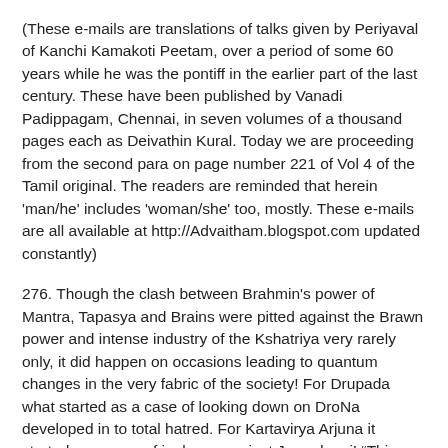(These e-mails are translations of talks given by Periyaval of Kanchi Kamakoti Peetam, over a period of some 60 years while he was the pontiff in the earlier part of the last century. These have been published by Vanadi Padippagam, Chennai, in seven volumes of a thousand pages each as Deivathin Kural. Today we are proceeding from the second para on page number 221 of Vol 4 of the Tamil original. The readers are reminded that herein 'man/he' includes 'woman/she' too, mostly. These e-mails are all available at http://Advaitham.blogspot.com updated constantly)
276. Though the clash between Brahmin's power of Mantra, Tapasya and Brains were pitted against the Brawn power and intense industry of the Kshatriya very rarely only, it did happen on occasions leading to quantum changes in the very fabric of the society! For Drupada what started as a case of looking down on DroNa developed in to total hatred. For Kartavirya Arjuna it started as a case of jealousy against Jamadagni! "This recluse pathetically under clothed Brahmin sitting under a tree in this forest, just by his power of Tapasya is able to feed my whole army", he thought! "Because of his Tapasya, he has been able to get as his